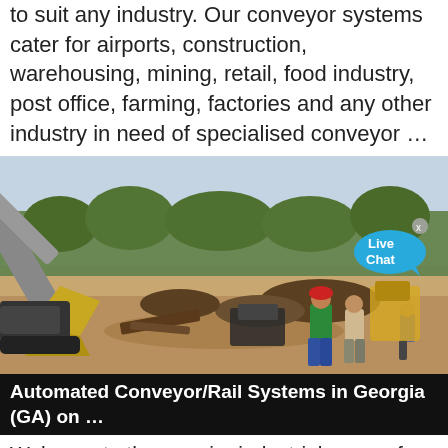to suit any industry. Our conveyor systems cater for airports, construction, warehousing, mining, retail, food industry, post office, farming, factories and any other industry in need of specialised conveyor …
[Figure (photo): Construction site with excavator machinery, dirt mounds, workers standing and observing, trees in background, hazy sky. A Live Chat bubble overlay appears in the upper right.]
Automated Conveyor/Rail Systems in Georgia (GA) on …
Welcome to the premier industrial source for Automated Conveyor/Rail Systems in Georgia. These companies offer a comprehensive range of Automated Conveyor/Rail